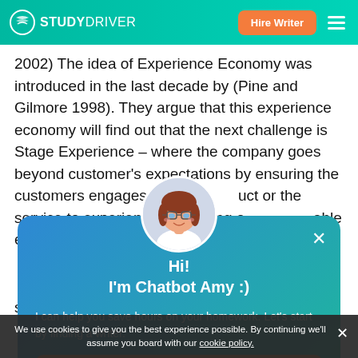STUDYDRIVER — Hire Writer
2002) The idea of Experience Economy was introduced in the last decade by (Pine and Gilmore 1998). They argue that this experience economy will find out that the next challenge is Stage Experience – where the company goes beyond customer's expectations by ensuring the customers engages with the product or the service to experience something of a memorable event. This type of
[Figure (illustration): Chatbot Amy avatar: cartoon female with red-brown hair and glasses, circular framed]
Hi!
I'm Chatbot Amy :)

I can help you save hours on your homework. Let's start by finding a writer.
Find Writer
showed that companies are spending more on
We use cookies to give you the best experience possible. By continuing we'll assume you board with our cookie policy.